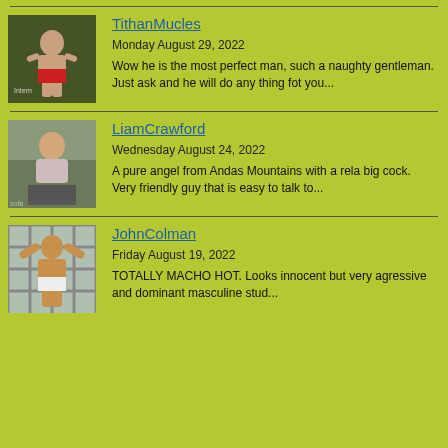TithanMucles
Monday August 29, 2022
Wow he is the most perfect man, such a naughty gentleman. Just ask and he will do any thing fot you...
LiamCrawford
Wednesday August 24, 2022
A pure angel from Andas Mountains with a rela big cock. Very friendly guy that is easy to talk to...
JohnColman
Friday August 19, 2022
TOTALLY MACHO HOT. Looks innocent but very agressive and dominant masculine stud...